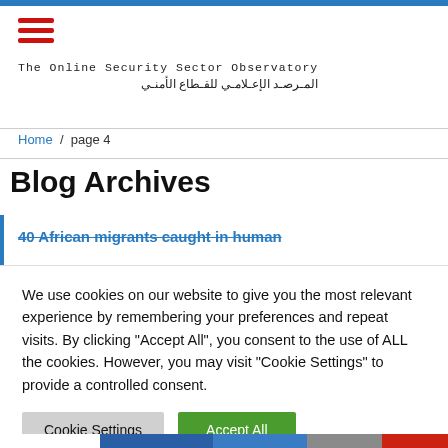The Online Security Sector Observatory / المرصد الإعلامي للقطاع الأمني
Home / page 4
Blog Archives
40 African migrants caught in human
We use cookies on our website to give you the most relevant experience by remembering your preferences and repeat visits. By clicking "Accept All", you consent to the use of ALL the cookies. However, you may visit "Cookie Settings" to provide a controlled consent.
Cookie Settings | Accept All